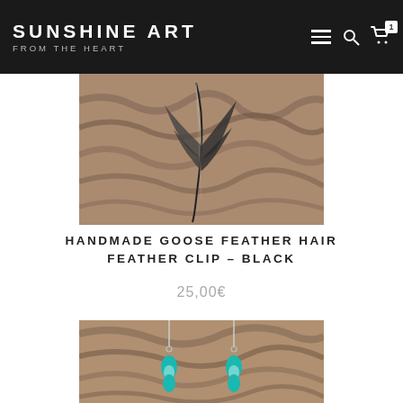SUNSHINE ART FROM THE HEART
[Figure (photo): Close-up photo of a handmade black goose feather hair clip resting on driftwood/bark texture background]
HANDMADE GOOSE FEATHER HAIR FEATHER CLIP – BLACK
25,00€
[Figure (photo): Close-up photo of handmade earrings with turquoise beads against a driftwood/bark texture background]